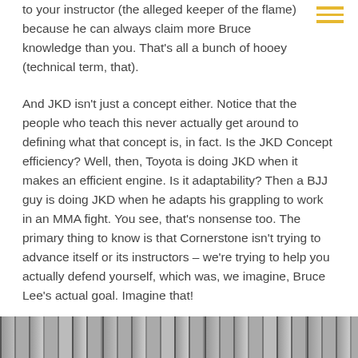to your instructor (the alleged keeper of the flame) because he can always claim more Bruce knowledge than you. That's all a bunch of hooey (technical term, that).
And JKD isn't just a concept either. Notice that the people who teach this never actually get around to defining what that concept is, in fact. Is the JKD Concept efficiency? Well, then, Toyota is doing JKD when it makes an efficient engine. Is it adaptability? Then a BJJ guy is doing JKD when he adapts his grappling to work in an MMA fight. You see, that's nonsense too. The primary thing to know is that Cornerstone isn't trying to advance itself or its instructors – we're trying to help you actually defend yourself, which was, we imagine, Bruce Lee's actual goal. Imagine that!
[Figure (photo): A black and white photo strip showing multiple images of people, partially visible at the bottom of the page.]